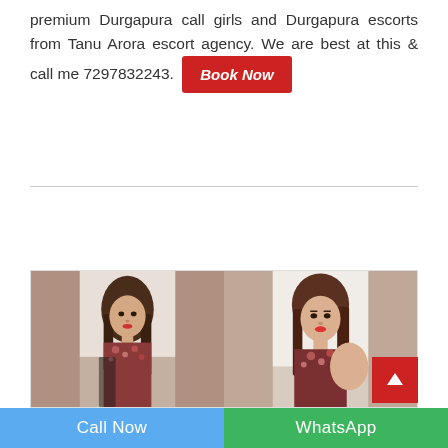premium Durgapura call girls and Durgapura escorts from Tanu Arora escort agency. We are best at this & call me 7297832243. [Book Now]
[Figure (photo): Two photos of a young woman with long brown hair, red lips, wearing a floral top, shown side by side in a collage style.]
Call Now | WhatsApp